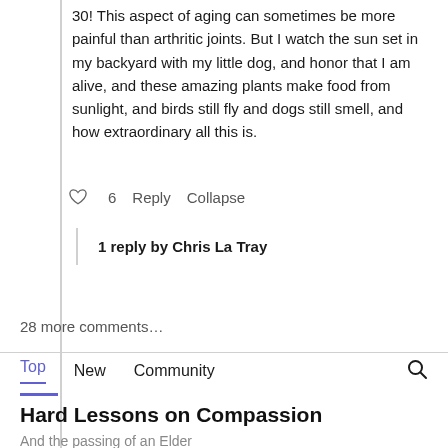30! This aspect of aging can sometimes be more painful than arthritic joints. But I watch the sun set in my backyard with my little dog, and honor that I am alive, and these amazing plants make food from sunlight, and birds still fly and dogs still smell, and how extraordinary all this is.
♡ 6  Reply  Collapse
1 reply by Chris La Tray
28 more comments…
Top  New  Community
Hard Lessons on Compassion
And the passing of an Elder